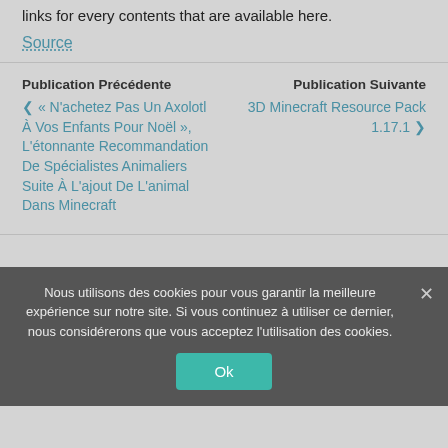links for every contents that are available here.
Source
Publication Précédente
❮ « N'achetez Pas Un Axolotl À Vos Enfants Pour Noël », L'étonnante Recommandation De Spécialistes Animaliers Suite À L'ajout De L'animal Dans Minecraft
Publication Suivante
3D Minecraft Resource Pack 1.17.1 ❯
Nous utilisons des cookies pour vous garantir la meilleure expérience sur notre site. Si vous continuez à utiliser ce dernier, nous considérerons que vous acceptez l'utilisation des cookies.
Ok